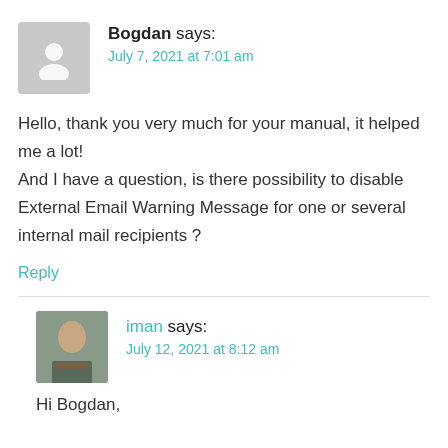Bogdan says:
July 7, 2021 at 7:01 am
Hello, thank you very much for your manual, it helped me a lot!
And I have a question, is there possibility to disable External Email Warning Message for one or several internal mail recipients ?
Reply
iman says:
July 12, 2021 at 8:12 am
Hi Bogdan,